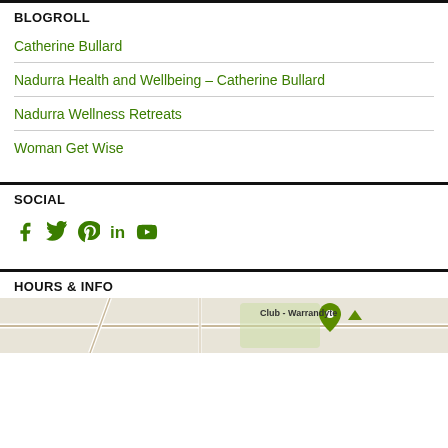BLOGROLL
Catherine Bullard
Nadurra Health and Wellbeing – Catherine Bullard
Nadurra Wellness Retreats
Woman Get Wise
SOCIAL
[Figure (infographic): Social media icons: Facebook, Twitter, Pinterest, LinkedIn, YouTube]
HOURS & INFO
[Figure (map): Map showing Club - Warrandyte area]